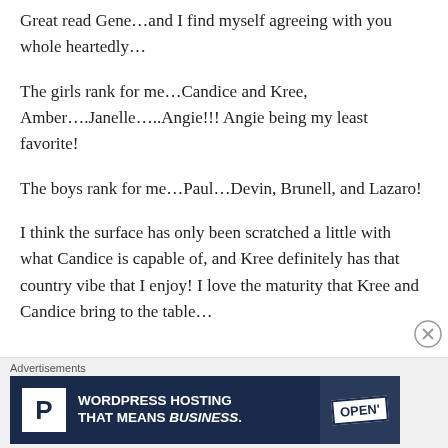Great read Gene…and I find myself agreeing with you whole heartedly…
The girls rank for me…Candice and Kree, Amber….Janelle…..Angie!!! Angie being my least favorite!
The boys rank for me…Paul…Devin, Brunell, and Lazaro!
I think the surface has only been scratched a little with what Candice is capable of, and Kree definitely has that country vibe that I enjoy! I love the maturity that Kree and Candice bring to the table…
Advertisements
[Figure (other): WordPress Hosting advertisement banner: P logo, text 'WORDPRESS HOSTING THAT MEANS BUSINESS.' with an OPEN sign image on the right.]